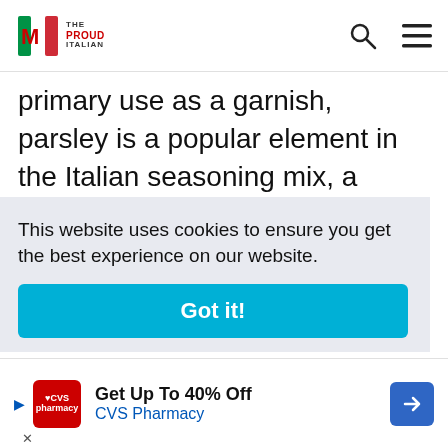The Proud Italian — navigation header with logo, search icon, and menu icon
primary use as a garnish, parsley is a popular element in the Italian seasoning mix, a traditional bundle of fresh herbs tied together and used to infuse a herbal taste into soups, stews, braises, and sauces.
On the other hand, dried parsley should be utilized throughout the cooking process since
This website uses cookies to ensure you get the best experience on our website.
Got it!
[Figure (other): CVS Pharmacy advertisement banner: Get Up To 40% Off CVS Pharmacy]